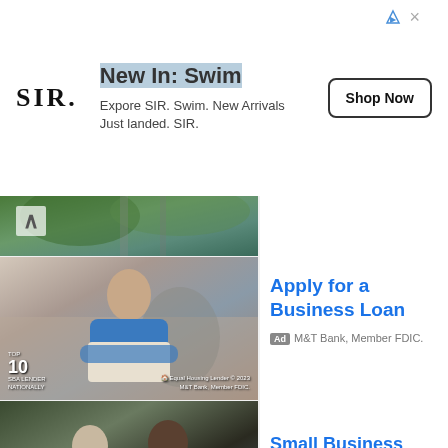[Figure (photo): SIR. brand banner advertisement for swimwear with logo, text 'New In: Swim', description 'Expore SIR. Swim. New Arrivals Just landed. SIR.' and a 'Shop Now' button]
[Figure (photo): Partial image of green foliage and building with up-arrow navigation element]
[Figure (photo): Woman in blue shirt and white apron standing in kitchen with arms crossed. Bottom left text: TOP 10 SBA LENDER NATIONALLY. Bottom right: Equal Housing Lender © 2023 M&T Bank, Member FDIC.]
Apply for a Business Loan
Ad M&T Bank, Member FDIC.
[Figure (photo): Two people (man and woman) smiling and shaking hands in a cafe or office setting]
Small Business Working Capital
Ad Velocity Capital Group